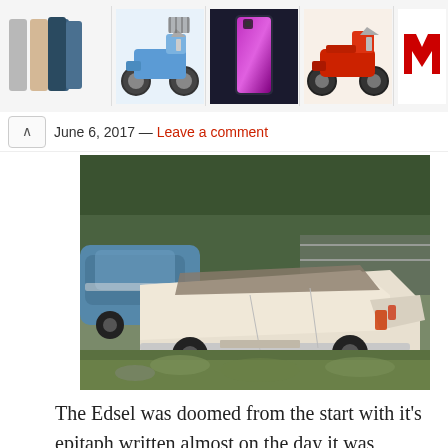[Figure (other): Advertisement banner showing product images: three iPhone-like phones, a blue electric scooter, a purple/dark phone, a red electric scooter, and a red M logo]
June 6, 2017 — Leave a comment
[Figure (photo): Photograph of an abandoned white Edsel station wagon parked in overgrown grass and weeds, with a blue car visible to the left and trees in the background]
The Edsel was doomed from the start with it's epitaph written almost on the day it was